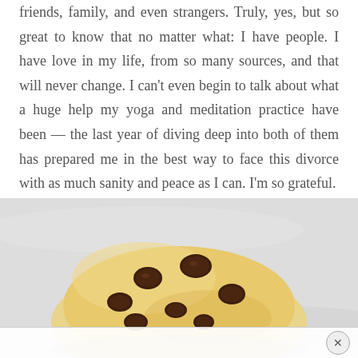friends, family, and even strangers. Truly, yes, but so great to know that no matter what: I have people. I have love in my life, from so many sources, and that will never change. I can't even begin to talk about what a huge help my yoga and meditation practice have been — the last year of diving deep into both of them has prepared me in the best way to face this divorce with as much sanity and peace as I can. I'm so grateful.
[Figure (photo): Close-up photograph of a chocolate chip cookie dough ball on a light gray/white marble surface, with visible chocolate chips embedded in the pale yellow dough.]